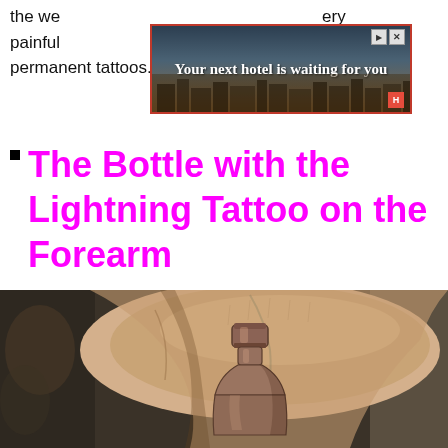the we...ery painful...loves permanent tattoos.
[Figure (screenshot): Advertisement banner: 'Your next hotel is waiting for you' with hotel/city skyline image, red border, play and close buttons top right, red icon bottom right]
The Bottle with the Lightning Tattoo on the Forearm
[Figure (photo): Close-up photo of a forearm with a bottle tattoo visible at the bottom of the frame. The bottle has a cork/stopper, rendered in detailed greyscale/brown ink. Background shows another tattoo art piece.]